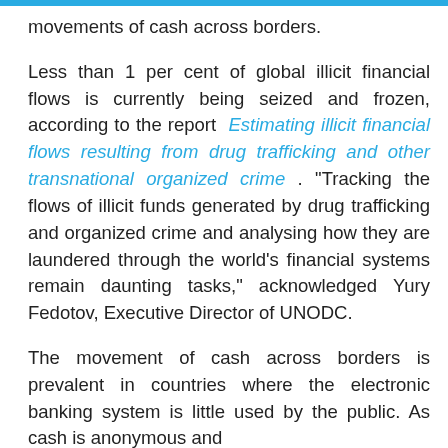movements of cash across borders.
Less than 1 per cent of global illicit financial flows is currently being seized and frozen, according to the report Estimating illicit financial flows resulting from drug trafficking and other transnational organized crime . "Tracking the flows of illicit funds generated by drug trafficking and organized crime and analysing how they are laundered through the world's financial systems remain daunting tasks," acknowledged Yury Fedotov, Executive Director of UNODC.
The movement of cash across borders is prevalent in countries where the electronic banking system is little used by the public. As cash is anonymous and